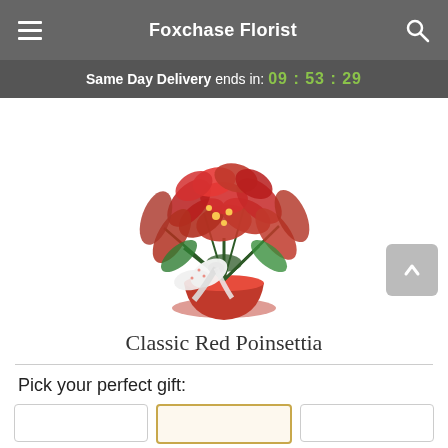Foxchase Florist
Same Day Delivery ends in: 09 : 53 : 29
[Figure (photo): Classic Red Poinsettia plant in a red pot with a decorative ribbon bow, displayed against a white background.]
Classic Red Poinsettia
Pick your perfect gift: